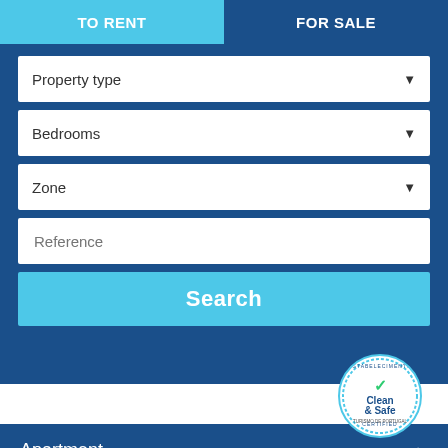TO RENT
FOR SALE
Property type
Bedrooms
Zone
Reference
Search
[Figure (illustration): Clean & Safe official seal from Turismo de Portugal with green checkmark]
Apartment
Villa
Hotels